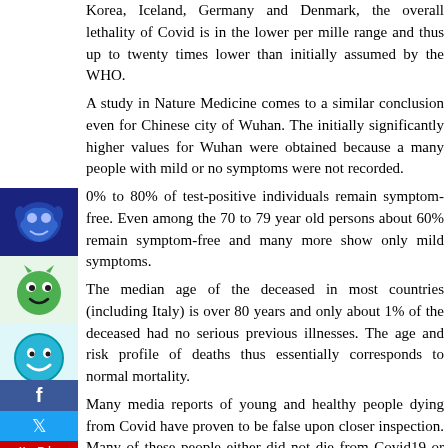Korea, Iceland, Germany and Denmark, the overall lethality of Covid is in the lower per mille range and thus up to twenty times lower than initially assumed by the WHO.
A study in Nature Medicine comes to a similar conclusion even for Chinese city of Wuhan. The initially significantly higher values for Wuhan were obtained because a many people with mild or no symptoms were not recorded.
0% to 80% of test-positive individuals remain symptom-free. Even among the 70 to 79 year old persons about 60% remain symptom-free and many more show only mild symptoms.
The median age of the deceased in most countries (including Italy) is over 80 years and only about 1% of the deceased had no serious previous illnesses. The age and risk profile of deaths thus essentially corresponds to normal mortality.
Many media reports of young and healthy people dying from Covid have proven to be false upon closer inspection. Many of these people either did not die from Covid19 or they in fact had serious preconditions (such as undiagnosed leukaemia).
Normal overall mortality in the US is about 8000 people per day, in Germany about 2600 people and in Italy about 1800 people per day. Influenza mortality in the US is up to 80,000, in Germany and Italy to 25,000, and in Switzerland up to 1500 people per winter.
Strongly increased death rates, as in northern Italy, can be influe...
[Figure (illustration): Blue animal/mascot icon on dark blue background]
[Figure (illustration): Green frog/alien emoticon icon on light green background]
[Figure (illustration): Teal/blue smiley face emoticon on light cyan background]
[Figure (illustration): Facebook social share button]
[Figure (illustration): Twitter social share button]
[Figure (illustration): YouTube social share button]